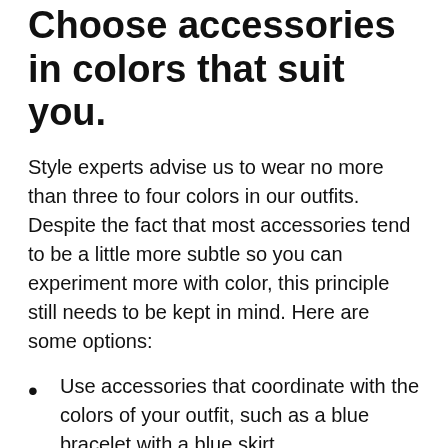Choose accessories in colors that suit you.
Style experts advise us to wear no more than three to four colors in our outfits. Despite the fact that most accessories tend to be a little more subtle so you can experiment more with color, this principle still needs to be kept in mind. Here are some options:
Use accessories that coordinate with the colors of your outfit, such as a blue bracelet with a blue skirt.
You can play up a basic outfit with accessories in a bold color: for example, a black dress with red